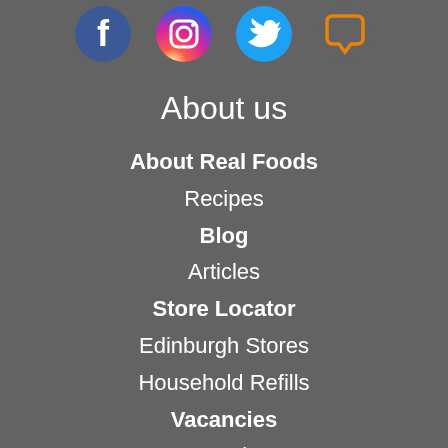[Figure (illustration): Social media icons: Facebook (blue circle with f), Instagram (gradient pink/orange circle with camera icon), Twitter (blue circle with bird), and a chat bubble icon (orange outline)]
About us
About Real Foods
Recipes
Blog
Articles
Store Locator
Edinburgh Stores
Household Refills
Vacancies
Magazine
Social Media
Contact us